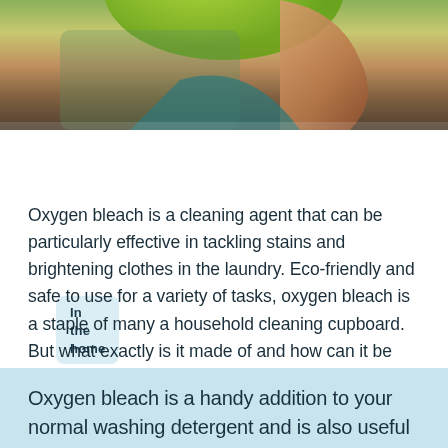[Figure (photo): Photo of a person in a teal shirt holding or reaching into a green container/bowl, likely demonstrating laundry or cleaning task.]
In the home
Oxygen bleach is a cleaning agent that can be particularly effective in tackling stains and brightening clothes in the laundry. Eco-friendly and safe to use for a variety of tasks, oxygen bleach is a staple of many a household cleaning cupboard. But what exactly is it made of and how can it be used in your wash cycle?
Oxygen bleach is a handy addition to your normal washing detergent and is also useful for other household cleaning tasks,